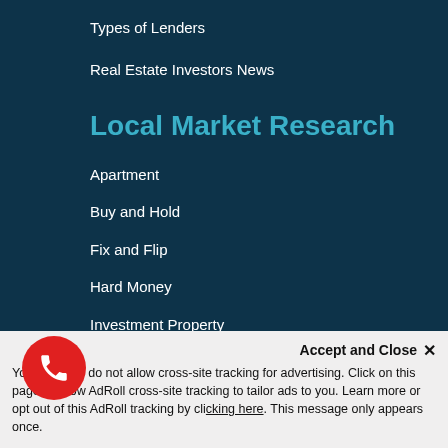Types of Lenders
Real Estate Investors News
Local Market Research
Apartment
Buy and Hold
Fix and Flip
Hard Money
Investment Property
Multifamily Bridge
New Construction
Portfolio Rental Loans
Rehab to Rent
Accept and Close ✕
Your settings do not allow cross-site tracking for advertising. Click on this page to allow AdRoll cross-site tracking to tailor ads to you. Learn more or opt out of this AdRoll tracking by clicking here. This message only appears once.